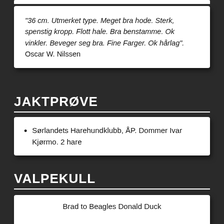"36 cm. Utmerket type. Meget bra hode. Sterk, spenstig kropp. Flott hale. Bra benstamme. Ok vinkler. Beveger seg bra. Fine Farger. Ok hårlag". Oscar W. Nilssen
JAKTPRØVE
Sørlandets Harehundklubb, ÅP. Dommer Ivar Kjørmo. 2 hare
VALPEKULL
Brad to Beagles Donald Duck